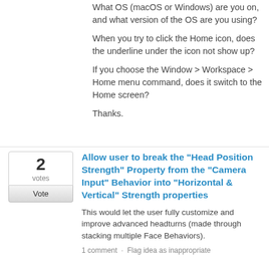What OS (macOS or Windows) are you on, and what version of the OS are you using?
When you try to click the Home icon, does the underline under the icon not show up?
If you choose the Window > Workspace > Home menu command, does it switch to the Home screen?
Thanks.
Allow user to break the "Head Position Strength" Property from the "Camera Input" Behavior into "Horizontal & Vertical" Strength properties
This would let the user fully customize and improve advanced headturns (made through stacking multiple Face Behaviors).
1 comment · Flag idea as inappropriate